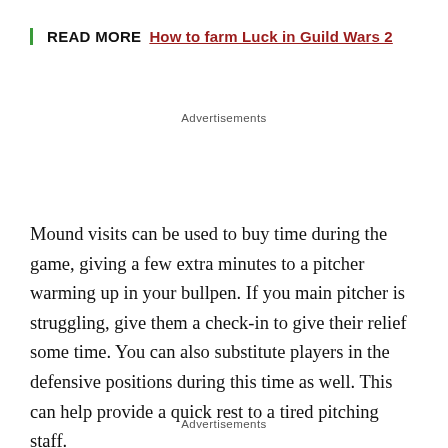READ MORE  How to farm Luck in Guild Wars 2
Advertisements
Mound visits can be used to buy time during the game, giving a few extra minutes to a pitcher warming up in your bullpen. If you main pitcher is struggling, give them a check-in to give their relief some time. You can also substitute players in the defensive positions during this time as well. This can help provide a quick rest to a tired pitching staff.
Advertisements